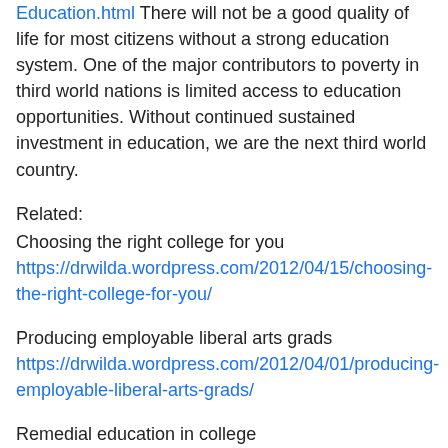Education.html There will not be a good quality of life for most citizens without a strong education system. One of the major contributors to poverty in third world nations is limited access to education opportunities. Without continued sustained investment in education, we are the next third world country.
Related:
Choosing the right college for you
https://drwilda.wordpress.com/2012/04/15/choosing-the-right-college-for-you/
Producing employable liberal arts grads
https://drwilda.wordpress.com/2012/04/01/producing-employable-liberal-arts-grads/
Remedial education in college
https://drwilda.wordpress.com/2012/03/04/remedial-